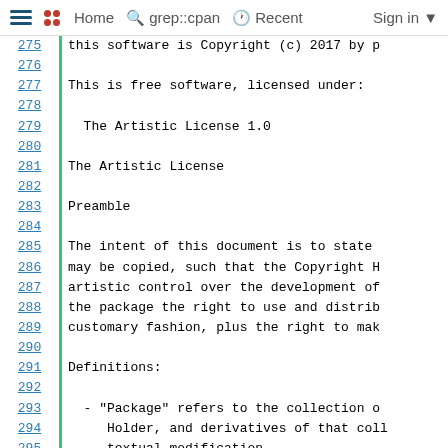Home  grep::cpan  Recent  Sign in
275  this software is Copyright (c) 2017 by p
276
277  This is free software, licensed under:
278
279    The Artistic License 1.0
280
281  The Artistic License
282
283  Preamble
284
285  The intent of this document is to state
286  may be copied, such that the Copyright H
287  artistic control over the development of
288  the package the right to use and distrib
289  customary fashion, plus the right to mak
290
291  Definitions:
292
293    - "Package" refers to the collection o
294       Holder, and derivatives of that coll
295       textual modification.
296    - "Standard Version" refers to such a
297       or has been modified in accordance w
298       Holder.
299    - "Copyright Holder" is whoever is nam
300       the package.
301       "You" is you, if you're thinking abo